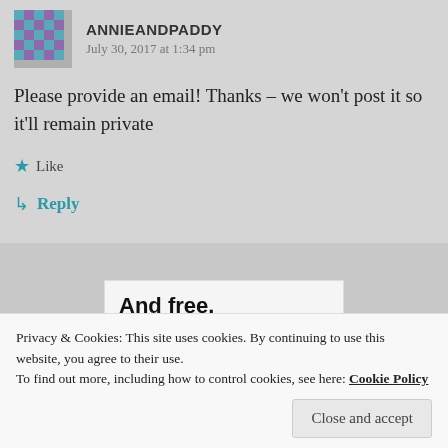ANNIEANDPADDY — July 30, 2017 at 1:34 pm
Please provide an email! Thanks – we won't post it so it'll remain private
★ Like
↳ Reply
[Figure (screenshot): Widget showing 'And free.' with user avatar circles below including a blue plus button]
Privacy & Cookies: This site uses cookies. By continuing to use this website, you agree to their use.
To find out more, including how to control cookies, see here: Cookie Policy
Close and accept